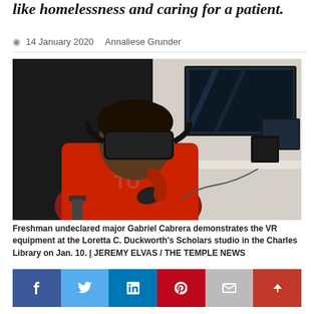like homelessness and caring for a patient.
14 January 2020   Annaliese Grunder
[Figure (photo): A freshman student wearing a VR headset and holding controllers, seated in a chair in a modern room. A large monitor is mounted on the wall in the background, and computer equipment is on a desk to the right.]
Freshman undeclared major Gabriel Cabrera demonstrates the VR equipment at the Loretta C. Duckworth's Scholars studio in the Charles Library on Jan. 10. | JEREMY ELVAS / THE TEMPLE NEWS
[Figure (infographic): Social share buttons: Facebook, Twitter, LinkedIn, Pinterest, Email, and scroll-to-top arrow.]